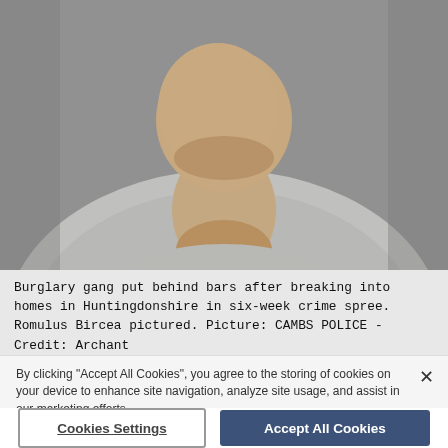[Figure (photo): Mugshot-style photograph of a man from chest up wearing a grey t-shirt, photographed against a grey background. The face is cropped out of the top of the image.]
Burglary gang put behind bars after breaking into homes in Huntingdonshire in six-week crime spree. Romulus Bircea pictured. Picture: CAMBS POLICE - Credit: Archant
Mihail was jailed for six years and eight months and
By clicking “Accept All Cookies”, you agree to the storing of cookies on your device to enhance site navigation, analyze site usage, and assist in our marketing efforts.
Cookies Settings
Accept All Cookies